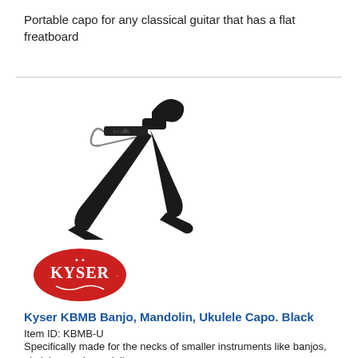Portable capo for any classical guitar that has a flat freatboard
[Figure (photo): Black Kyser guitar capo product photo on white background]
[Figure (logo): Kyser brand logo - red oval with white text KYSER]
Kyser KBMB Banjo, Mandolin, Ukulele Capo. Black
Item ID: KBMB-U
Specifically made for the necks of smaller instruments like banjos, ukuleles, and mandolins